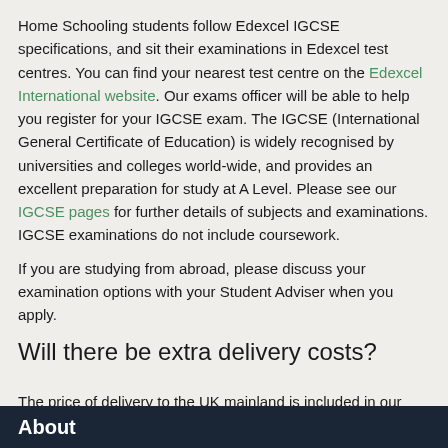Home Schooling students follow Edexcel IGCSE specifications, and sit their examinations in Edexcel test centres. You can find your nearest test centre on the Edexcel International website. Our exams officer will be able to help you register for your IGCSE exam. The IGCSE (International General Certificate of Education) is widely recognised by universities and colleges world-wide, and provides an excellent preparation for study at A Level. Please see our IGCSE pages for further details of subjects and examinations. IGCSE examinations do not include coursework.
If you are studying from abroad, please discuss your examination options with your Student Adviser when you apply.
Will there be extra delivery costs?
The price of delivery to the UK mainland is included in our course fees. However, students who live outside of the UK may be required to pay an extra fee for International deliveries. Please discuss the cost of delivery with your Student Adviser prior to enrolling on your course.
About